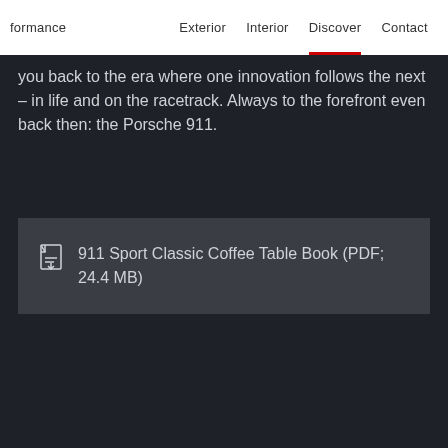formance   Exterior   Interior   Discover   Contact
you back to the era where one innovation follows the next – in life and on the racetrack. Always to the forefront even back then: the Porsche 911.
911 Sport Classic Coffee Table Book (PDF; 24.4 MB)